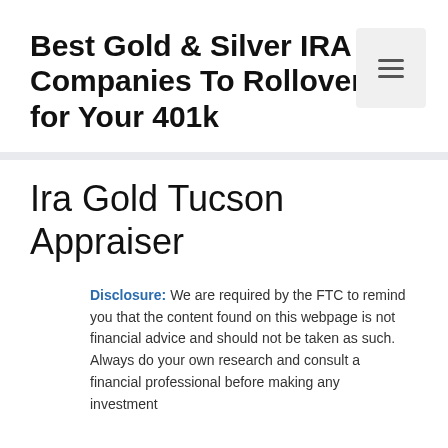Best Gold & Silver IRA Companies To Rollover for Your 401k
Ira Gold Tucson Appraiser
Disclosure: We are required by the FTC to remind you that the content found on this webpage is not financial advice and should not be taken as such. Always do your own research and consult a financial professional before making any investment